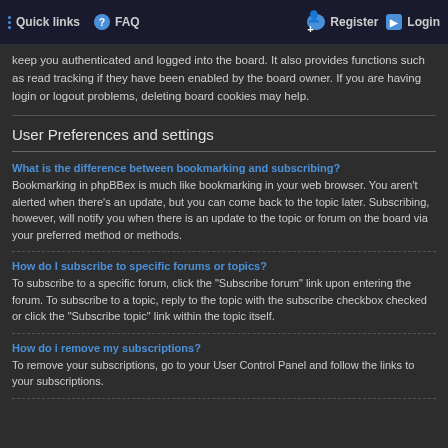Quick links  FAQ  Register  Login
keep you authenticated and logged into the board. It also provides functions such as read tracking if they have been enabled by the board owner. If you are having login or logout problems, deleting board cookies may help.
User Preferences and settings
What is the difference between bookmarking and subscribing?
Bookmarking in phpBBex is much like bookmarking in your web browser. You aren't alerted when there's an update, but you can come back to the topic later. Subscribing, however, will notify you when there is an update to the topic or forum on the board via your preferred method or methods.
How do I subscribe to specific forums or topics?
To subscribe to a specific forum, click the "Subscribe forum" link upon entering the forum. To subscribe to a topic, reply to the topic with the subscribe checkbox checked or click the "Subscribe topic" link within the topic itself.
How do i remove my subscriptions?
To remove your subscriptions, go to your User Control Panel and follow the links to your subscriptions.